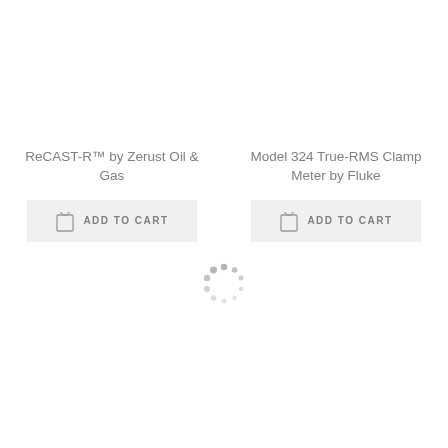ReCAST-R™ by Zerust Oil & Gas
[Figure (other): ADD TO CART button with shopping bag icon for ReCAST-R product]
Model 324 True-RMS Clamp Meter by Fluke
[Figure (other): ADD TO CART button with shopping bag icon for Model 324 product]
[Figure (other): Loading spinner animation indicator]